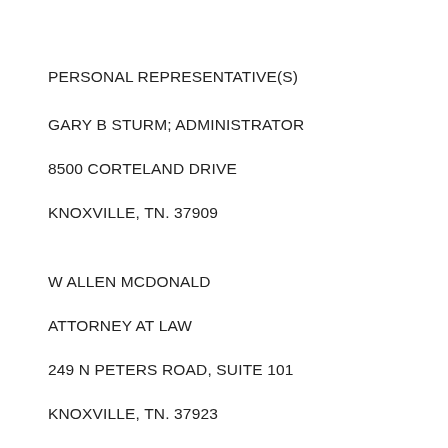PERSONAL REPRESENTATIVE(S)
GARY B STURM; ADMINISTRATOR
8500 CORTELAND DRIVE
KNOXVILLE, TN. 37909
W ALLEN MCDONALD
ATTORNEY AT LAW
249 N PETERS ROAD, SUITE 101
KNOXVILLE, TN. 37923